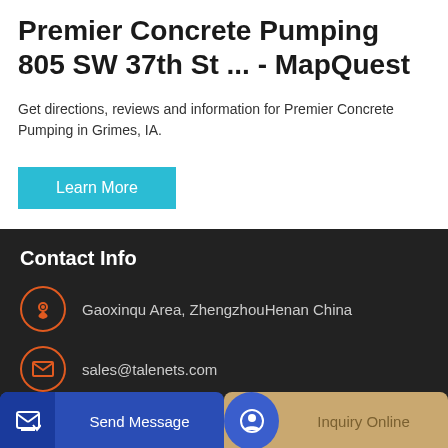Premier Concrete Pumping 805 SW 37th St ... - MapQuest
Get directions, reviews and information for Premier Concrete Pumping in Grimes, IA.
Learn More
Contact Info
Gaoxinqu Area, ZhengzhouHenan China
sales@talenets.com
0086-371-60999996
Send Message | Inquiry Online